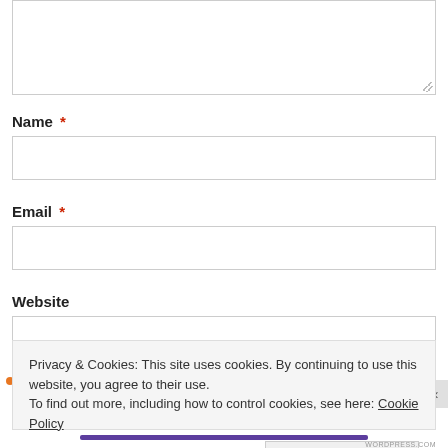[Figure (screenshot): Textarea input box (top portion of page, partially visible, with resize handle in bottom-right corner)]
Name *
[Figure (screenshot): Text input field for Name]
Email *
[Figure (screenshot): Text input field for Email]
Website
[Figure (screenshot): Text input field for Website]
Privacy & Cookies: This site uses cookies. By continuing to use this website, you agree to their use. To find out more, including how to control cookies, see here: Cookie Policy
Close and accept